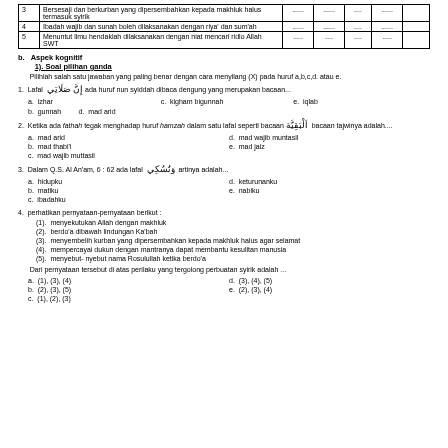| No | Pernyataan | SS | S | RR | TS | STS |
| --- | --- | --- | --- | --- | --- | --- |
| 3 | Bersesaji dan berkurban yang dipersembahkan kepada makhluq halus termasuk syirik | ...... | ...... | ..... | ...... |  |
| 4 | Ibadah wajib dan sunah boleh dilaksanakan dengan riya' dan sum'ah | ...... | ...... | ..... | ...... |  |
| 5 | Menuntut ilmu hendaklah dilaksanakan dengan niat mencari ridlo Allah SWT | ..... | .... | .... | ..... |  |
b. Aspek kognitif
1). Soal pilihan ganda
Pilihlah salah satu jawaban yang paling benar dengan cara menyilang (X) pada huruf a,b,c,d. atau e.
1. Lafal [Arabic] ada huruf nun syiddah dibaca dengung yang merupakan bacaan...
a. izhar    c. kigham bigunnah    e. iqlab
b. gunnah  d. mad arid
2. Ketika ada fathah tegak menghadap huruf hamzah dalam satu lafal seperti bacaan [Arabic] bacaan tajwinya adalah....
a. mad arid   d. mad wajib muntasil
b. mad thabi'i  e. mad jaiz
c. mad wajib muttasil
3. Dalam Q.S. Al An'am, 6 : 62 ada lafal [Arabic] artinya adalah...
a. hidupku   d. keturunanku
b. matiku    e. nabiku
c. ibadahku
4. perhatikan pernyataan-pernyataan berikut :
(1). menyekutukan Allah dengan makhluk
(2). berdo'a dibawah lindungan Ka'bah
(3). menyembelih kurban yang dipersembahkan kepada makhluk halus agar selamat
(4). mempercayai dukun dengan mantranya dapat membantu kesulitan manusia
(5). menyebut-nyebut nama Rosulullah ketika berdo'a

Dari pernyataan tersebut di atas perilaku yang tergolong perbuatan syirik adalah....
a. (1), (3), (4)   d. (3), (4), (5)
b. (2), (3), (5)   e. (2), (3), (4)
c. (1), (2), (3)